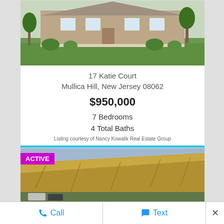[Figure (photo): Exterior photo of a large house with green lawn and landscaping]
17 Katie Court
Mullica Hill, New Jersey 08062
$950,000
7 Bedrooms
4 Total Baths
Listing courtesy of Nancy Kowalik Real Estate Group
View Details
ACTIVE
[Figure (photo): Aerial/landscape photo showing a hillside or cliff with vegetation]
Call
Text